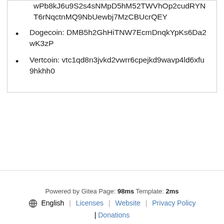wPb8kJ6u9S2s4sNMpD5hM52TWVhOp2cudRYNT6rNqctnMQ9NbUewbj7MzCBUcrQEY
Dogecoin: DMB5h2GhHiTNW7EcmDnqkYpKs6Da2wK3zP
Vertcoin: vtc1qd8n3jvkd2vwrr6cpejkd9wavp4ld6xfu9hkhh0
Powered by Gitea Page: 98ms Template: 2ms
⊕ English | Licenses | Website | Privacy Policy | Donations